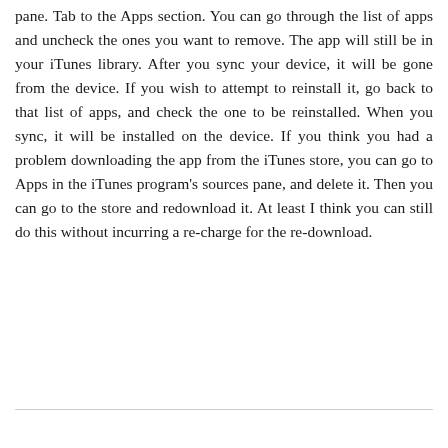pane. Tab to the Apps section. You can go through the list of apps and uncheck the ones you want to remove. The app will still be in your iTunes library. After you sync your device, it will be gone from the device. If you wish to attempt to reinstall it, go back to that list of apps, and check the one to be reinstalled. When you sync, it will be installed on the device. If you think you had a problem downloading the app from the iTunes store, you can go to Apps in the iTunes program's sources pane, and delete it. Then you can go to the store and redownload it. At least I think you can still do this without incurring a re-charge for the re-download.